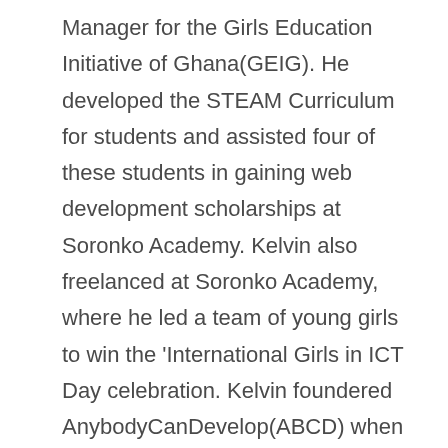Manager for the Girls Education Initiative of Ghana(GEIG). He developed the STEAM Curriculum for students and assisted four of these students in gaining web development scholarships at Soronko Academy. Kelvin also freelanced at Soronko Academy, where he led a team of young girls to win the 'International Girls in ICT Day celebration. Kelvin foundered AnybodyCanDevelop(ABCD) when he discovered that learners introduced to programming while at GEIG started finding other software of their interest. Studying some of these tools led him to develop